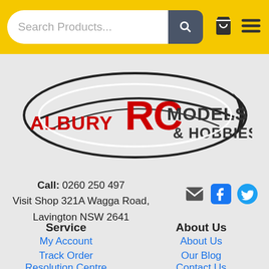Search Products...
[Figure (logo): Albury RC Models & Hobbies logo with stylized RC helicopter swoosh design, red and black text on white]
Call: 0260 250 497
Visit Shop 321A Wagga Road,
Lavington NSW 2641
Service
About Us
My Account
About Us
Track Order
Our Blog
Resolution Centre
Contact Us
Buy Now, Pay Later